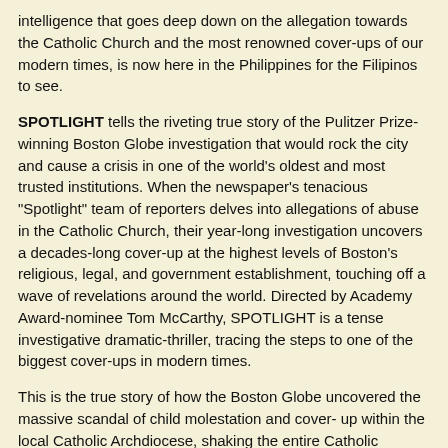intelligence that goes deep down on the allegation towards the Catholic Church and the most renowned cover-ups of our modern times, is now here in the Philippines for the Filipinos to see.
SPOTLIGHT tells the riveting true story of the Pulitzer Prize-winning Boston Globe investigation that would rock the city and cause a crisis in one of the world's oldest and most trusted institutions. When the newspaper's tenacious "Spotlight" team of reporters delves into allegations of abuse in the Catholic Church, their year-long investigation uncovers a decades-long cover-up at the highest levels of Boston's religious, legal, and government establishment, touching off a wave of revelations around the world. Directed by Academy Award-nominee Tom McCarthy, SPOTLIGHT is a tense investigative dramatic-thriller, tracing the steps to one of the biggest cover-ups in modern times.
This is the true story of how the Boston Globe uncovered the massive scandal of child molestation and cover- up within the local Catholic Archdiocese, shaking the entire Catholic Church to its core.